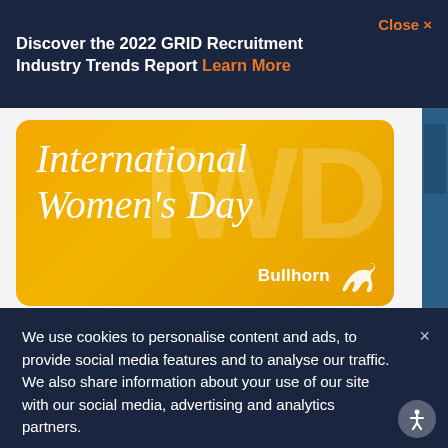Discover the 2022 GRID Recruitment Industry Trends Report Learn More
Close ×
[Figure (illustration): International Women's Day promotional banner with golden/amber background, large italic serif text reading 'International Women's Day', Bullhorn logo and bull icon at bottom right, watermark 'IWD' in background]
We use cookies to personalise content and ads, to provide social media features and to analyse our traffic. We also share information about your use of our site with our social media, advertising and analytics partners.
Cookies Settings